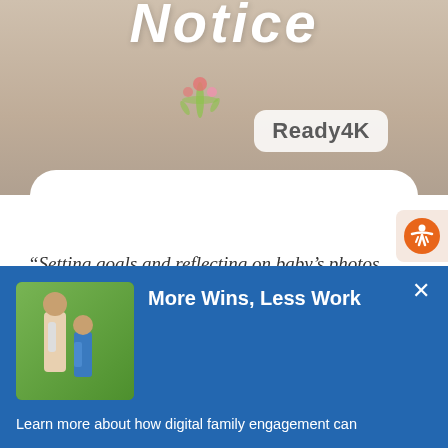[Figure (photo): Partial view of a person wearing a beige floral t-shirt with 'Notice' text at top and a 'Ready4K' speech bubble overlay, with wooden background on right]
“Setting goals and reflecting on baby’s photos were most helpful. Helped me to regroup my life and appreciate my daughter growing up learning new things.”
[Figure (photo): Blue promotional banner titled 'More Wins, Less Work' with a thumbnail photo of an adult and child, and text about digital family engagement]
Learn more about how digital family engagement can